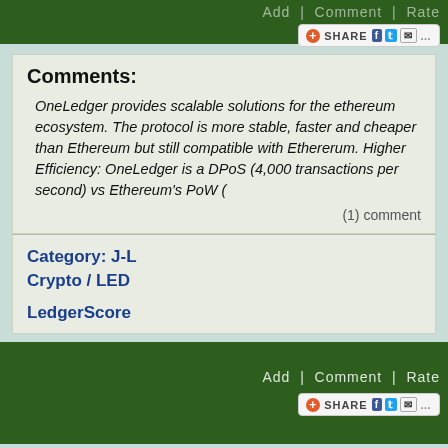Add | Comment | Rate
Comments:
OneLedger provides scalable solutions for the ethereum ecosystem. The protocol is more stable, faster and cheaper than Ethereum but still compatible with Ethererum. Higher Efficiency: OneLedger is a DPoS (4,000 transactions per second) vs Ethereum’s PoW (
(1) comment
Category: J-L
Crypto / LED
LedgerScore
Add | Comment | Rate